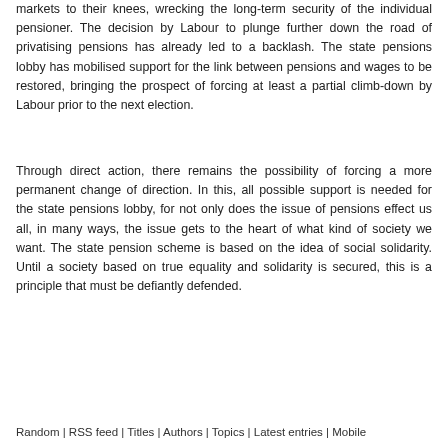markets to their knees, wrecking the long-term security of the individual pensioner. The decision by Labour to plunge further down the road of privatising pensions has already led to a backlash. The state pensions lobby has mobilised support for the link between pensions and wages to be restored, bringing the prospect of forcing at least a partial climb-down by Labour prior to the next election.
Through direct action, there remains the possibility of forcing a more permanent change of direction. In this, all possible support is needed for the state pensions lobby, for not only does the issue of pensions effect us all, in many ways, the issue gets to the heart of what kind of society we want. The state pension scheme is based on the idea of social solidarity. Until a society based on true equality and solidarity is secured, this is a principle that must be defiantly defended.
Random | RSS feed | Titles | Authors | Topics | Latest entries | Mobile